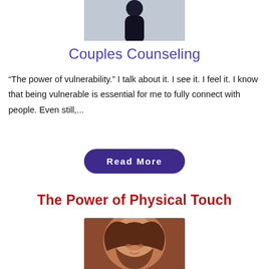[Figure (photo): Partial photo of a person in dark clothing against a light background, cropped at top of page]
Couples Counseling
“The power of vulnerability.” I talk about it. I see it. I feel it. I know that being vulnerable is essential for me to fully connect with people. Even still,...
Read More
The Power of Physical Touch
[Figure (photo): Close-up photo of a smiling woman with curly dark hair and glasses, laughing joyfully]